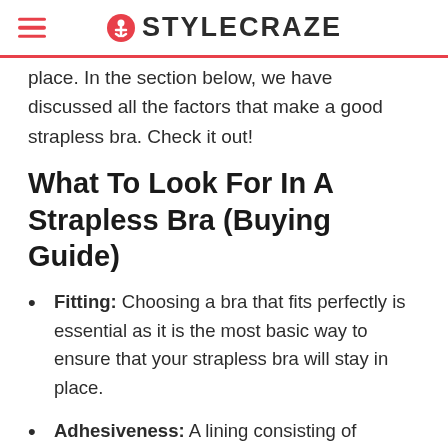STYLECRAZE
place. In the section below, we have discussed all the factors that make a good strapless bra. Check it out!
What To Look For In A Strapless Bra (Buying Guide)
Fitting: Choosing a bra that fits perfectly is essential as it is the most basic way to ensure that your strapless bra will stay in place.
Adhesiveness: A lining consisting of silicone or another material that moves with the skin is essential. It helps in achieving a no-slip grip and stays perfectly in place at all times.